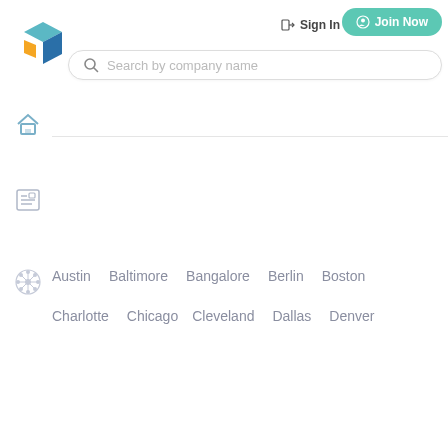[Figure (logo): 3D geometric logo with teal, dark blue, and orange shapes forming a stylized cube/arrow mark]
Sign In
Join Now
Search by company name
Austin   Baltimore   Bangalore   Berlin   Boston
Charlotte   Chicago   Cleveland   Dallas   Denver